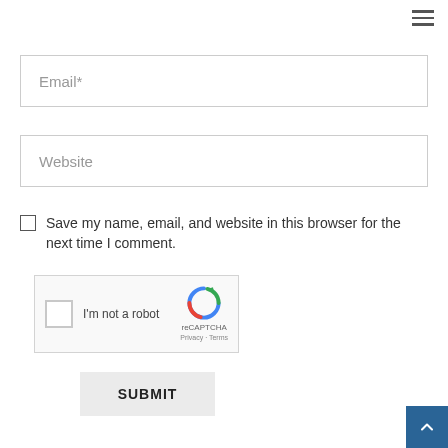[Figure (other): Hamburger menu icon (three horizontal lines) in top right corner]
Email*
Website
Save my name, email, and website in this browser for the next time I comment.
[Figure (other): reCAPTCHA widget with checkbox, 'I'm not a robot' text, reCAPTCHA logo, Privacy and Terms links]
SUBMIT
[Figure (other): Back to top button (teal square with upward chevron arrow) in bottom right corner]